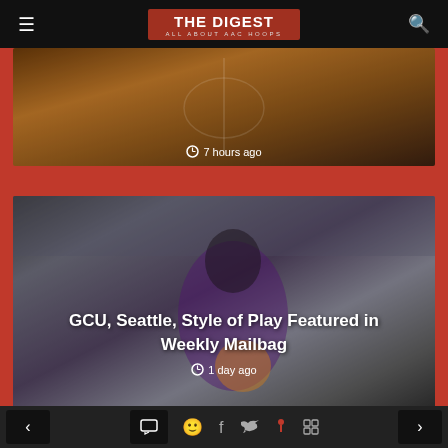THE DIGEST — ALL ABOUT AAC HOOPS
[Figure (photo): Basketball court photo, partially visible, dark and warm tones]
7 hours ago
[Figure (photo): GCU basketball player in purple jersey dribbling a Wilson basketball, arena seating in background]
GCU, Seattle, Style of Play Featured in Weekly Mailbag
1 day ago
Navigation toolbar with previous, comment, share (Facebook, Twitter, Pinterest, LinkedIn), and next buttons